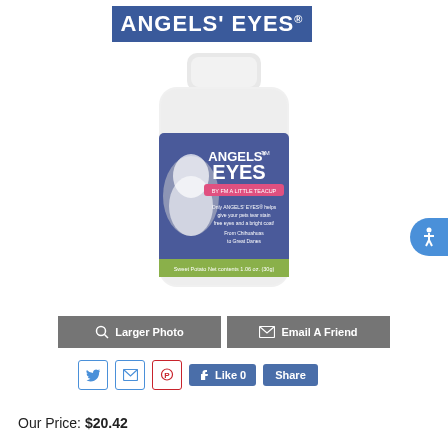[Figure (logo): Angels' Eyes brand logo — white bold text on blue/navy rectangular banner]
[Figure (photo): Angels' Eyes Sweet Potato supplement product bottle for dogs — white plastic bottle with blue/purple label showing a white Maltese dog, product text reads: ANGELS' EYES, BY FM A LITTLE TEACUP, Only ANGELS' EYES helps give your pets tear stain free eyes and a bright coat! From Chihuahuas to Great Danes. Sweet Potato Net contents 1.06 oz. (30g)]
Larger Photo
Email A Friend
Like 0   Share
Our Price: $20.42